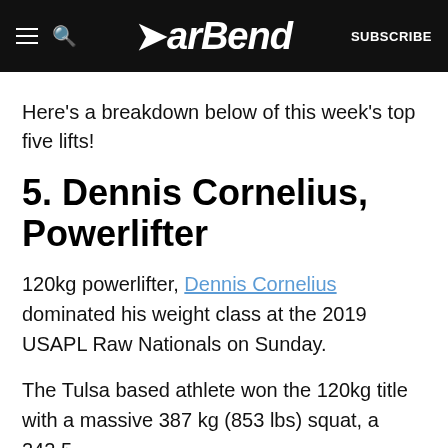BarBend  SUBSCRIBE
Here’s a breakdown below of this week’s top five lifts!
5. Dennis Cornelius, Powerlifter
120kg powerlifter, Dennis Cornelius dominated his weight class at the 2019 USAPL Raw Nationals on Sunday.
The Tulsa based athlete won the 120kg title with a massive 387 kg (853 lbs) squat, a 242.5